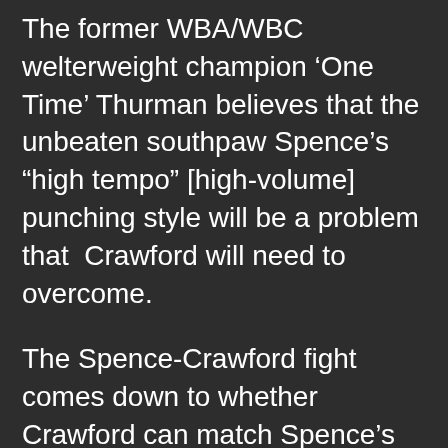The former WBA/WBC welterweight champion 'One Time' Thurman believes that the unbeaten southpaw Spence's "high tempo" [high-volume] punching style will be a problem that Crawford will need to overcome.
The Spence-Crawford fight comes down to whether Crawford can match Spence's high octane offense. If Crawford can't match Spence's output or come close, he's going to lose. It's as simple as that.
Unfortunately for Crawford, he's not shown in his past fight that he's capable of throwing a lot of punches, which shouldn't